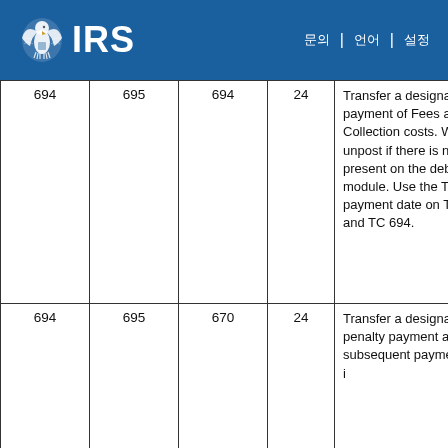IRS
| 694 | 695 | 694 | 24 | Transfer a designated payment of Fees and Collection costs. Will unpost if there is no TC 360 present on the debited module. Use the TC 694 payment date on TC 695 and TC 694. |
| 694 | 695 | 670 | 24 | Transfer a designated penalty payment as a subsequent payment if that i... |